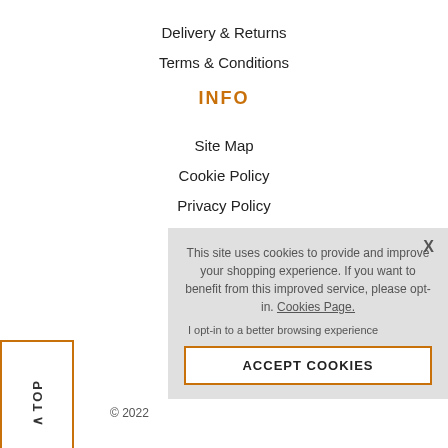Delivery & Returns
Terms & Conditions
INFO
Site Map
Cookie Policy
Privacy Policy
BRANDS (partial)
[Figure (other): Back to top button with upward arrow and rotated vertical text reading TOP, inside an orange-outlined box]
© 2022
This site uses cookies to provide and improve your shopping experience. If you want to benefit from this improved service, please opt-in. Cookies Page.
I opt-in to a better browsing experience
ACCEPT COOKIES